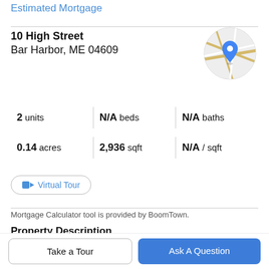Estimated Mortgage
10 High Street
Bar Harbor, ME 04609
[Figure (map): Circular map thumbnail showing location pin for 10 High Street, Bar Harbor, ME 04609]
2 units | N/A beds | N/A baths
0.14 acres | 2,936 sqft | N/A / sqft
Virtual Tour
Mortgage Calculator tool is provided by BoomTown.
Property Description
Prime location in the heart of downtown Bar Harbor! This
Take a Tour
Ask A Question